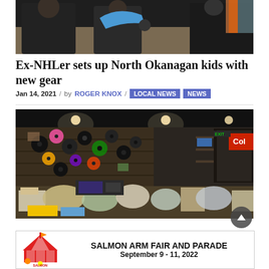[Figure (photo): People holding hockey/sports gear, dark jackets, indoor setting]
Ex-NHLer sets up North Okanagan kids with new gear
Jan 14, 2021 / by ROGER KNOX / LOCAL NEWS NEWS
[Figure (photo): Indoor room with vinyl records on wall, cluttered with bags and boxes of donated goods, Coke sign visible]
[Figure (other): Salmon Arm Fair and Parade advertisement banner: SALMON ARM FAIR AND PARADE September 9 - 11, 2022]